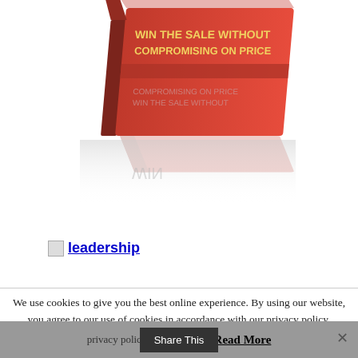[Figure (photo): A red book with gold text reading 'WIN THE SALE WITHOUT COMPROMISING ON PRICE', shown with a reflection below on a white background.]
[Figure (other): Broken image icon followed by a blue underlined hyperlink text reading 'leadership']
We use cookies to give you the best online experience. By using our website, you agree to our use of cookies in accordance with our privacy policy.
Accept   Read More
Share This   ✕